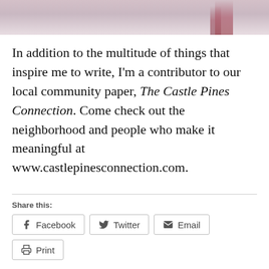[Figure (photo): Partial beach/shore photo showing legs or feet near water, cropped at bottom of image strip at top of page]
In addition to the multitude of things that inspire me to write, I'm a contributor to our local community paper, The Castle Pines Connection. Come check out the neighborhood and people who make it meaningful at www.castlepinesconnection.com.
Share this:
Facebook
Twitter
Email
Print